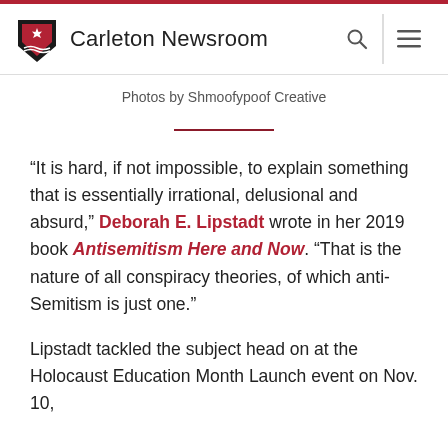Carleton Newsroom
Photos by Shmoofypoof Creative
“It is hard, if not impossible, to explain something that is essentially irrational, delusional and absurd,” Deborah E. Lipstadt wrote in her 2019 book Antisemitism Here and Now. “That is the nature of all conspiracy theories, of which anti-Semitism is just one.”
Lipstadt tackled the subject head on at the Holocaust Education Month Launch event on Nov. 10,